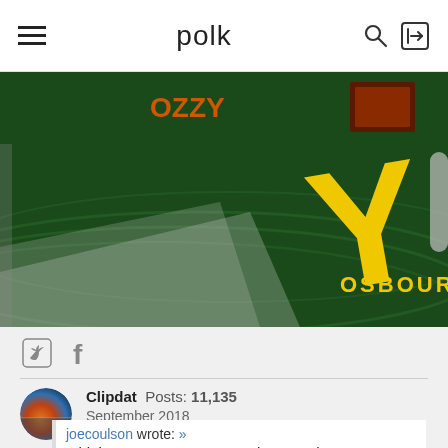polk
[Figure (photo): Close-up photo of a dark green album or book cover with large yellow letter Y and text 'OSBOURNE' in yellow letters below it, angled perspective view.]
Twitter and Facebook share icons
Clipdat  Posts: 11,135  September 2018
joecoulson wrote: »  I think I see a pattern. How about Sasha?